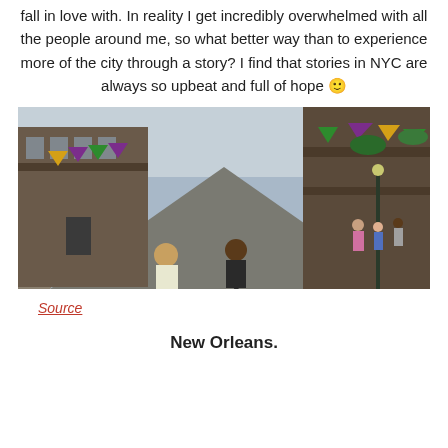fall in love with. In reality I get incredibly overwhelmed with all the people around me, so what better way than to experience more of the city through a story? I find that stories in NYC are always so upbeat and full of hope 🙂
[Figure (photo): A street scene in New Orleans French Quarter decorated with Mardi Gras flags and decorations in purple, green, gold. Two musicians sit in the foreground on the street. Buildings with ornate iron balconies line both sides.]
Source
New Orleans.